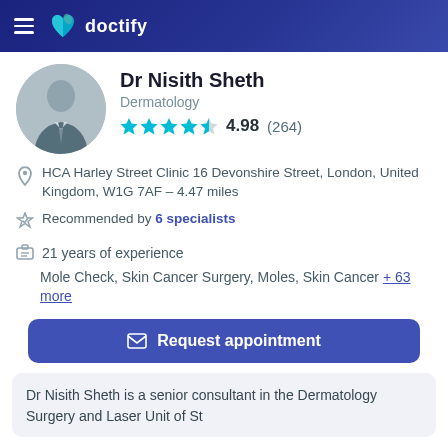doctify
Dr Nisith Sheth
Dermatology
4.98 (264)
HCA Harley Street Clinic 16 Devonshire Street, London, United Kingdom, W1G 7AF – 4.47 miles
Recommended by 6 specialists
21 years of experience
Mole Check, Skin Cancer Surgery, Moles, Skin Cancer + 63 more
Request appointment
Dr Nisith Sheth is a senior consultant in the Dermatology Surgery and Laser Unit of St